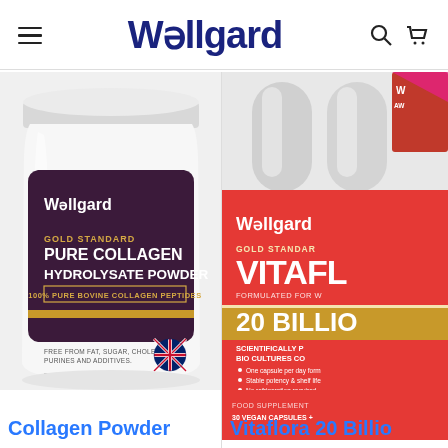Wellgard
[Figure (photo): Wellgard Gold Standard Pure Collagen Hydrolysate Powder 400g jar with purple label, UK flag, on white background]
[Figure (photo): Wellgard Gold Standard VitaFlora 20 Billion probiotic capsules box, red label, partially visible on right side]
Collagen Powder
Vitaflora 20 Billio